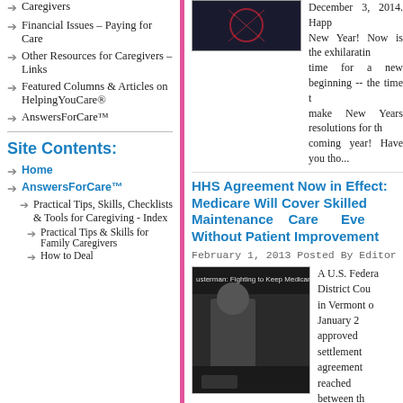Caregivers
Financial Issues – Paying for Care
Other Resources for Caregivers – Links
Featured Columns & Articles on HelpingYouCare®
AnswersForCare™
Site Contents:
Home
AnswersForCare™
Practical Tips, Skills, Checklists & Tools for Caregiving - Index
Practical Tips & Skills for Family Caregivers
How to Deal
December 3, 2014. Happy New Year! Now is the exhilarating time for a new beginning -- the time to make New Years resolutions for the coming year! Have you tho...
HHS Agreement Now in Effect: Medicare Will Cover Skilled Maintenance Care Even Without Patient Improvement
February 1, 2013 Posted By Editor
A U.S. Federal District Court in Vermont on January 24 approved a settlement agreement reached between the U.S. Department of Health and Human Services (HHS) and plaintiffs in a pending litigation matter, which may help all Medicare patients with...